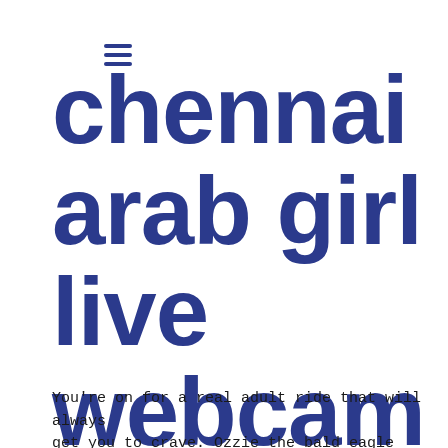☰
chennai arab girl live webcam
You're on for a real adult ride that will always get you to crave. Ozzie the bald eagle who